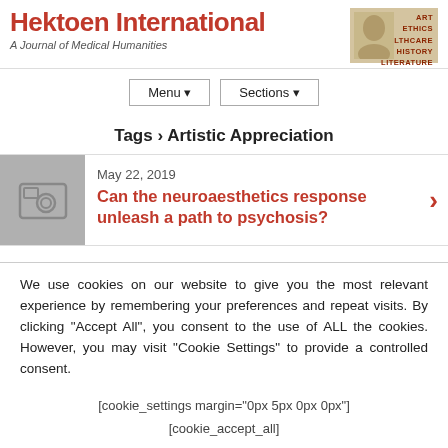Hektoen International — A Journal of Medical Humanities
Tags › Artistic Appreciation
May 22, 2019
Can the neuroaesthetics response unleash a path to psychosis?
We use cookies on our website to give you the most relevant experience by remembering your preferences and repeat visits. By clicking "Accept All", you consent to the use of ALL the cookies. However, you may visit "Cookie Settings" to provide a controlled consent.
[cookie_settings margin="0px 5px 0px 0px"] [cookie_accept_all]